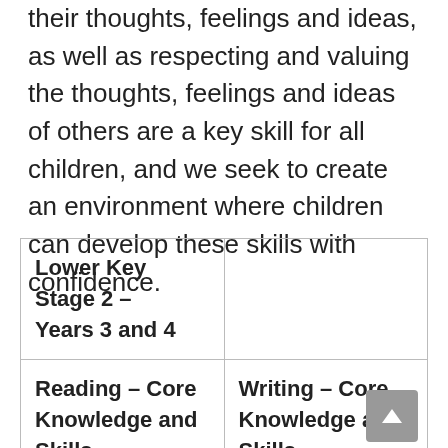their thoughts, feelings and ideas, as well as respecting and valuing the thoughts, feelings and ideas of others are a key skill for all children, and we seek to create an environment where children can develop these skills with confidence.
| Lower Key Stage 2 – Years 3 and 4 |  |
| Reading – Core Knowledge and Skills | Writing – Core Knowledge and Skills |
|  | Write with a reasonable degree of |